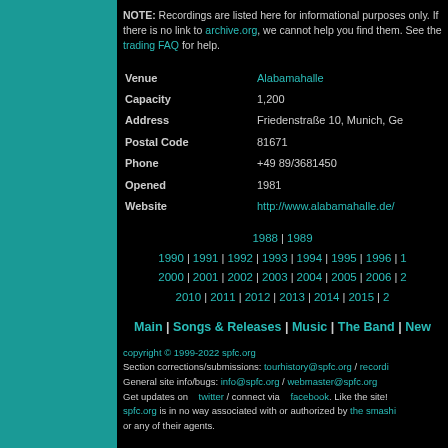NOTE: Recordings are listed here for informational purposes only. If there is no link to archive.org, we cannot help you find them. See the trading FAQ for help.
| Venue | Alabamahalle |
| Capacity | 1,200 |
| Address | Friedenstraße 10, Munich, Ge |
| Postal Code | 81671 |
| Phone | +49 89/3681450 |
| Opened | 1981 |
| Website | http://www.alabamahalle.de/ |
1988 | 1989 | 1990 | 1991 | 1992 | 1993 | 1994 | 1995 | 1996 | 1 2000 | 2001 | 2002 | 2003 | 2004 | 2005 | 2006 | 2 2010 | 2011 | 2012 | 2013 | 2014 | 2015 | 2
Main | Songs & Releases | Music | The Band | New
copyright © 1999-2022 spfc.org Section corrections/submissions: tourhistory@spfc.org / recordi... General site info/bugs: info@spfc.org / webmaster@spfc.org Get updates on twitter / connect via facebook. Like the site! spfc.org is in no way associated with or authorized by the smashi... or any of their agents.